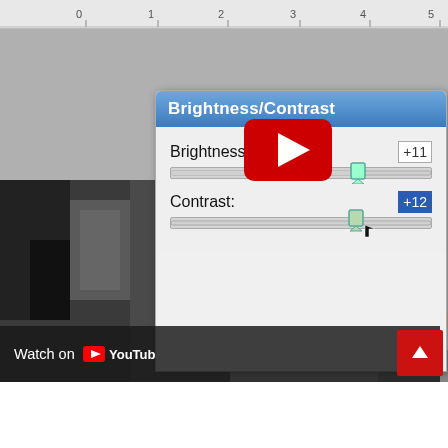[Figure (screenshot): Screenshot of a Photoshop-like Brightness/Contrast dialog box overlaid on a webpage, showing Brightness: +11 with a slider and Contrast: +12 with a slider selected in blue. A YouTube play button is overlaid on the image. Below the screenshot area is a 'Watch on YouTube' bar and a red scroll-to-top button.]